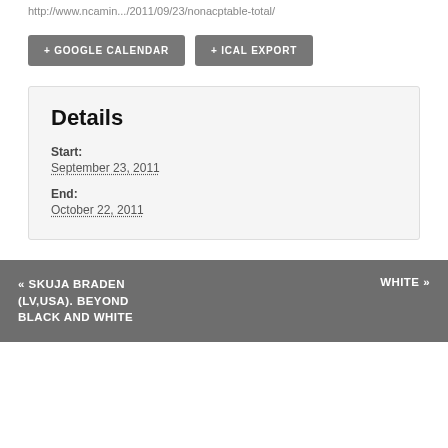http://www.ncamin.../2011/09/23/nonacptable-total/
+ GOOGLE CALENDAR
+ ICAL EXPORT
Details
Start:
September 23, 2011
End:
October 22, 2011
« SKUJA BRADEN (LV,USA). BEYOND BLACK AND WHITE
WHITE »